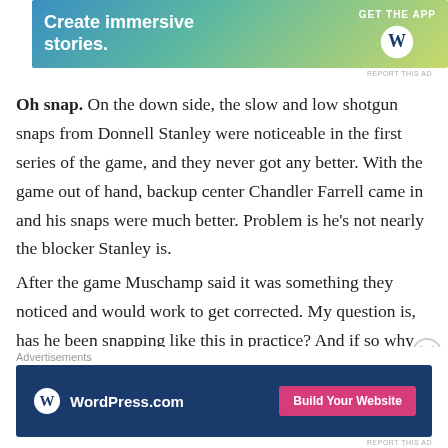[Figure (screenshot): WordPress advertisement banner at top: 'Create immersive stories. GET THE APP' with WordPress logo on gradient blue-green-yellow background]
Oh snap. On the down side, the slow and low shotgun snaps from Donnell Stanley were noticeable in the first series of the game, and they never got any better. With the game out of hand, backup center Chandler Farrell came in and his snaps were much better. Problem is he’s not nearly the blocker Stanley is.
After the game Muschamp said it was something they noticed and would work to get corrected. My question is, has he been snapping like this in practice? And if so why has it not already been corrected?
Advertisements
[Figure (screenshot): WordPress.com advertisement banner at bottom: 'WordPress.com' with Build Your Website button on dark blue background]